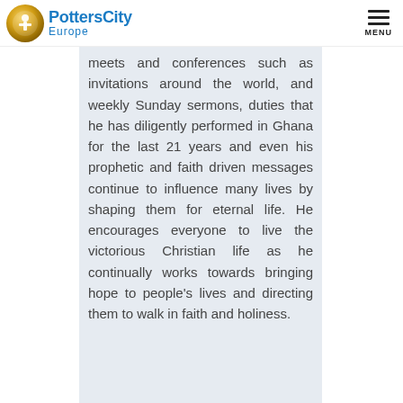PottersCity Europe — MENU
meets and conferences such as invitations around the world, and weekly Sunday sermons, duties that he has diligently performed in Ghana for the last 21 years and even his prophetic and faith driven messages continue to influence many lives by shaping them for eternal life. He encourages everyone to live the victorious Christian life as he continually works towards bringing hope to people's lives and directing them to walk in faith and holiness.